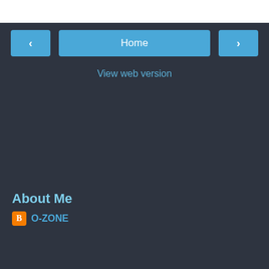[Figure (screenshot): White top bar of a mobile browser or app]
< Home >
View web version
About Me
O-ZONE